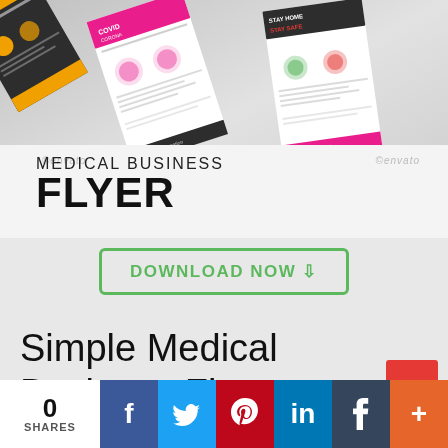[Figure (illustration): Angled mockup of multiple medical business flyer templates including COVID-19 themed designs in orange, pink, and dark color schemes with circular icons and text]
MEDICAL BUSINESS FLYER
DOWNLOAD NOW ↓
Simple Medical Business Flyer Templates
0 SHARES
f
t
P
in
t
+